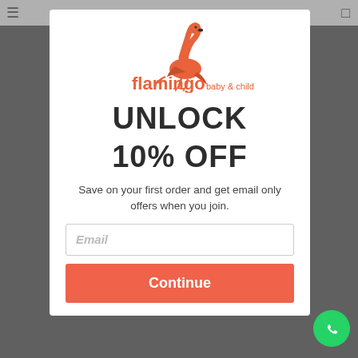[Figure (logo): Flamingo baby & child logo with flamingo bird illustration in coral/orange color]
UNLOCK 10% OFF
Save on your first order and get email only offers when you join.
Email
Continue